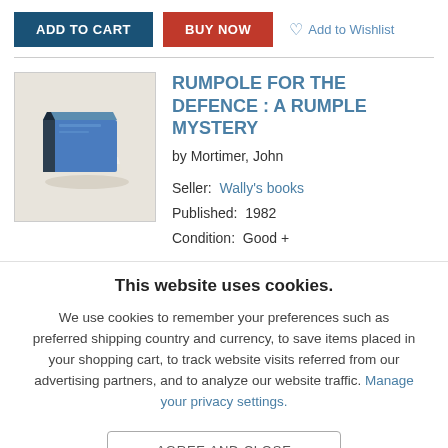[Figure (screenshot): E-commerce product page showing Add to Cart (dark teal button), Buy Now (red button), and Add to Wishlist (heart icon link) buttons at the top, followed by a book listing for 'Rumpole for the Defence: A Rumple Mystery' by Mortimer, John, with a blue book icon, seller Wally's books, published 1982, condition Good+. A cookie consent overlay covers the lower portion with text about cookie usage and an Agree and Close button.]
ADD TO CART
BUY NOW
Add to Wishlist
RUMPOLE FOR THE DEFENCE : A RUMPLE MYSTERY
by Mortimer, John
Seller:  Wally's books
Published:  1982
Condition:  Good +
This website uses cookies.
We use cookies to remember your preferences such as preferred shipping country and currency, to save items placed in your shopping cart, to track website visits referred from our advertising partners, and to analyze our website traffic. Manage your privacy settings.
AGREE AND CLOSE